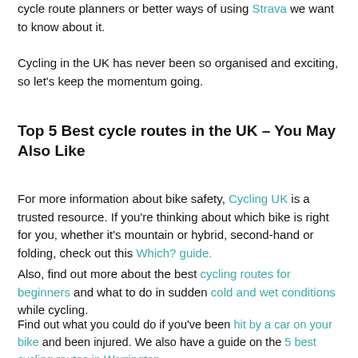cycle route planners or better ways of using Strava we want to know about it.
Cycling in the UK has never been so organised and exciting, so let's keep the momentum going.
Top 5 Best cycle routes in the UK – You May Also Like
For more information about bike safety, Cycling UK is a trusted resource. If you're thinking about which bike is right for you, whether it's mountain or hybrid, second-hand or folding, check out this Which? guide.
Also, find out more about the best cycling routes for beginners and what to do in sudden cold and wet conditions while cycling.
Find out what you could do if you've been hit by a car on your bike and been injured. We also have a guide on the 5 best cycling routes in Warrington.